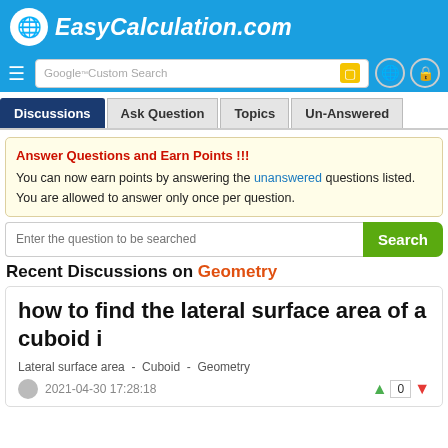EasyCalculation.com
Discussions | Ask Question | Topics | Un-Answered
Answer Questions and Earn Points !!! You can now earn points by answering the unanswered questions listed. You are allowed to answer only once per question.
Enter the question to be searched
Recent Discussions on Geometry
how to find the lateral surface area of a cuboid i
Lateral surface area  -  Cuboid  -  Geometry
2021-04-30 17:28:18